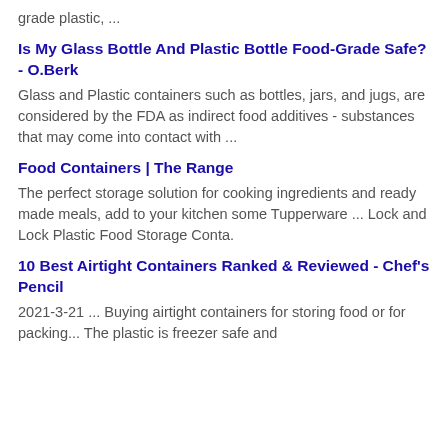grade plastic, ...
Is My Glass Bottle And Plastic Bottle Food-Grade Safe? - O.Berk
Glass and Plastic containers such as bottles, jars, and jugs, are considered by the FDA as indirect food additives - substances that may come into contact with ...
Food Containers | The Range
The perfect storage solution for cooking ingredients and ready made meals, add to your kitchen some Tupperware ... Lock and Lock Plastic Food Storage Conta.
10 Best Airtight Containers Ranked & Reviewed - Chef's Pencil
2021-3-21 ... Buying airtight containers for storing food or for packing... The plastic is freezer safe and